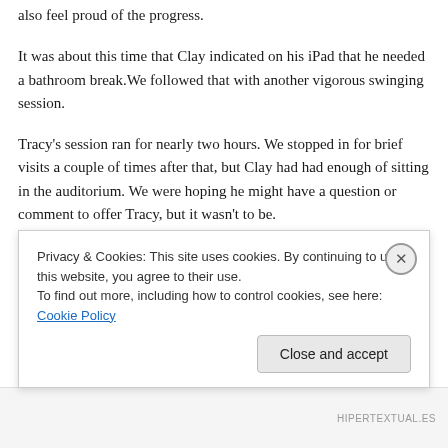also feel proud of the progress.
It was about this time that Clay indicated on his iPad that he needed a bathroom break.We followed that with another vigorous swinging session.
Tracy's session ran for nearly two hours. We stopped in for brief visits a couple of times after that, but Clay had had enough of sitting in the auditorium. We were hoping he might have a question or comment to offer Tracy, but it wasn't to be.
As we climbed into the car to begin the long drive home
Privacy & Cookies: This site uses cookies. By continuing to use this website, you agree to their use.
To find out more, including how to control cookies, see here: Cookie Policy
Close and accept